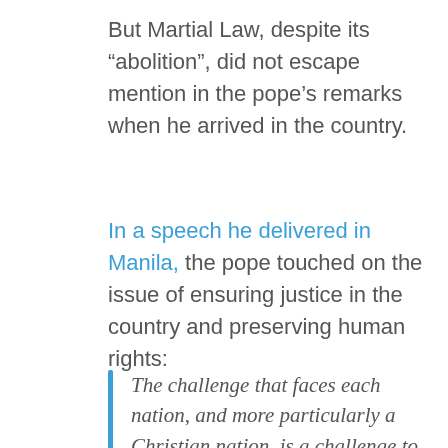But Martial Law, despite its “abolition”, did not escape mention in the pope’s remarks when he arrived in the country.
In a speech he delivered in Manila, the pope touched on the issue of ensuring justice in the country and preserving human rights:
The challenge that faces each nation, and more particularly a Christian nation, is a challenge to its own